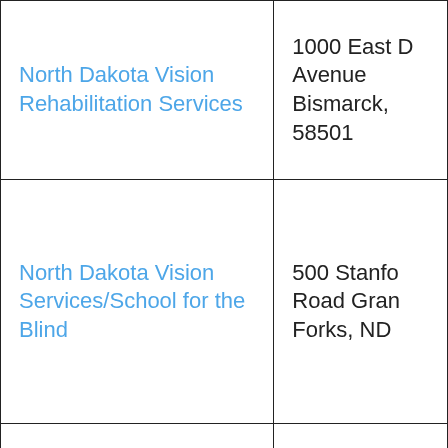| North Dakota Vision Rehabilitation Services | 1000 East D Avenue Bismarck, 58501 |
| North Dakota Vision Services/School for the Blind | 500 Stanfo Road Gran Forks, ND |
| National Federation of the Blind of North | 26 Roberts Street Farg |